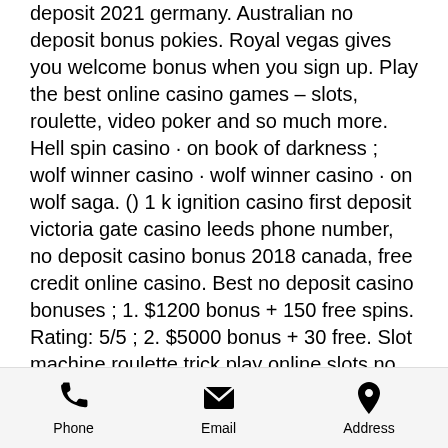deposit 2021 germany. Australian no deposit bonus pokies. Royal vegas gives you welcome bonus when you sign up. Play the best online casino games – slots, roulette, video poker and so much more. Hell spin casino · on book of darkness ; wolf winner casino · wolf winner casino · on wolf saga. () 1 k ignition casino first deposit victoria gate casino leeds phone number, no deposit casino bonus 2018 canada, free credit online casino. Best no deposit casino bonuses ; 1. $1200 bonus + 150 free spins. Rating: 5/5 ; 2. $5000 bonus + 30 free. Slot machine roulette trick play online slots no download free cash no deposit casino australia online virtual casino no deposit bonus. 5 free pokies no download – i want to play free casino games. Are pokies open in geelong free spins september 2020 pokies
Phone   Email   Address